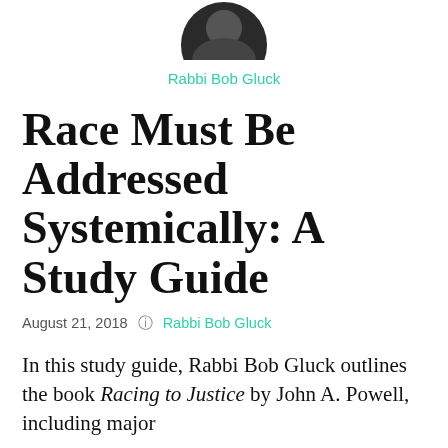[Figure (photo): Circular author photo of Rabbi Bob Gluck, partially cropped at top, showing a person in dark clothing]
Rabbi Bob Gluck
Race Must Be Addressed Systemically: A Study Guide
August 21, 2018   Rabbi Bob Gluck
In this study guide, Rabbi Bob Gluck outlines the book Racing to Justice by John A. Powell, including major